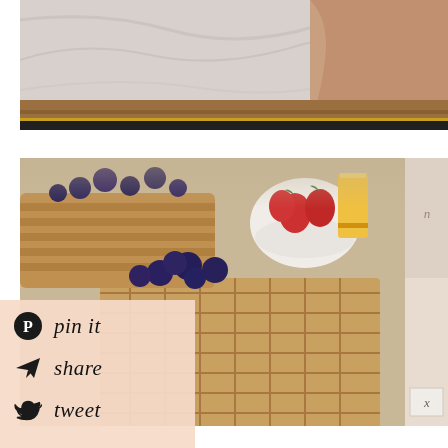[Figure (photo): Top portion showing a person's arm near a marble surface with wooden cutting board and dark metal strip]
[Figure (photo): Waffles stacked with blueberries on top, strawberries in a white bowl, and a glass of orange juice in the background]
[Figure (photo): Partial right-side image showing what appears to be a person in light clothing]
pin it
share
tweet